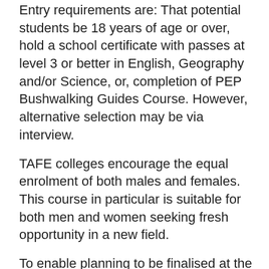Entry requirements are: That potential students be 18 years of age or over, hold a school certificate with passes at level 3 or better in English, Geography and/or Science, or, completion of PEP Bushwalking Guides Course. However, alternative selection may be via interview.
TAFE colleges encourage the equal enrolment of both males and females. This course in particular is suitable for both men and women seeking fresh opportunity in a new field.
To enable planning to be finalised at the college, interested students are invited to call at the college now where further information is available at the College East Campus, Parke Street, Katoomba.
Walk Notice.
Cancellation of the Carlons walk on 2, 3 March has been notified by leader Bill Gamble.